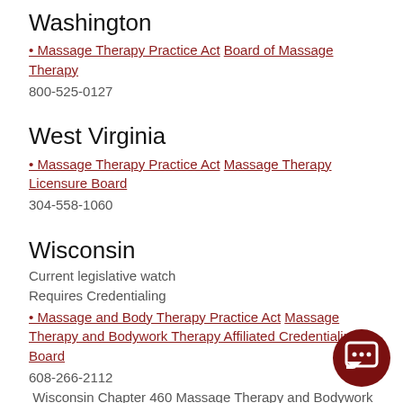Washington
• Massage Therapy Practice Act Board of Massage Therapy
800-525-0127
West Virginia
• Massage Therapy Practice Act Massage Therapy Licensure Board
304-558-1060
Wisconsin
Current legislative watch
Requires Credentialing
• Massage and Body Therapy Practice Act Massage Therapy and Bodywork Therapy Affiliated Credentialing Board
608-266-2112
Wisconsin Chapter 460 Massage Therapy and Bodywork Therapy